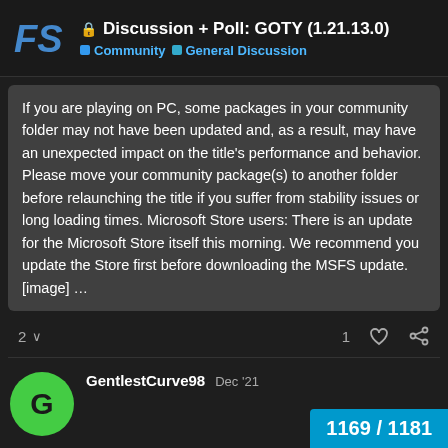🔒 Discussion + Poll: GOTY (1.21.13.0) | Community > General Discussion
If you are playing on PC, some packages in your community folder may not have been updated and, as a result, may have an unexpected impact on the title's performance and behavior. Please move your community package(s) to another folder before relaunching the title if you suffer from stability issues or long loading times. Microsoft Store users: There is an update for the Microsoft Store itself this morning. We recommend you update the Store first before downloading the MSFS update. [image] …
2 ∨   1 ♡ 🔗
GentlestCurve98   Dec '21
I only see that the point that interests me since january the most has been in the same position for months d… If nothing happens before XP12, that was
1169 / 1181